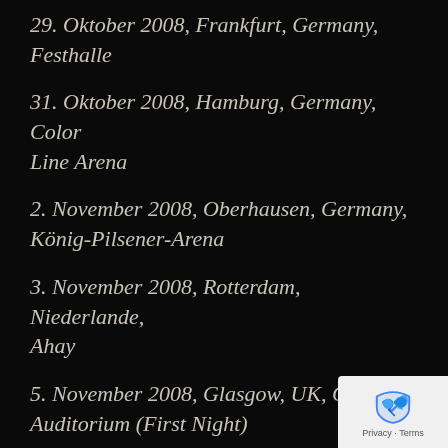29. Oktober 2008, Frankfurt, Germany, Festhalle
31. Oktober 2008, Hamburg, Germany, Color Line Arena
2. November 2008, Oberhausen, Germany, König-Pilsener-Arena
3. November 2008, Rotterdam, Niederlande, Ahay
5. November 2008, Glasgow, UK, Clyde Auditorium (First Night)